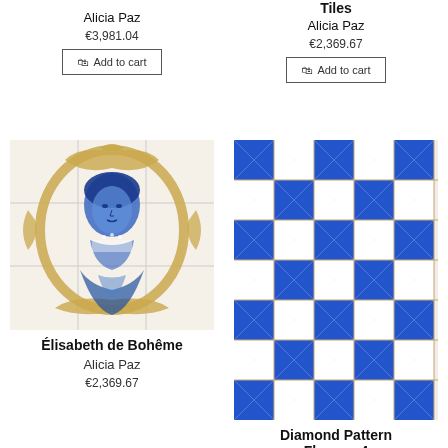Alicia Paz
€3,981.04
Add to cart
Tiles
Alicia Paz
€2,369.67
Add to cart
[Figure (photo): Ceramic tile mural of Élisabeth de Bohême, blue and white portrait with gold ornate baroque frame on white tile grid]
Élisabeth de Bohême
Alicia Paz
€2,369.67
[Figure (photo): Diamond pattern blue and white ceramic tiles in a repeating geometric checkerboard/diamond design]
Diamond Pattern Flowers 4